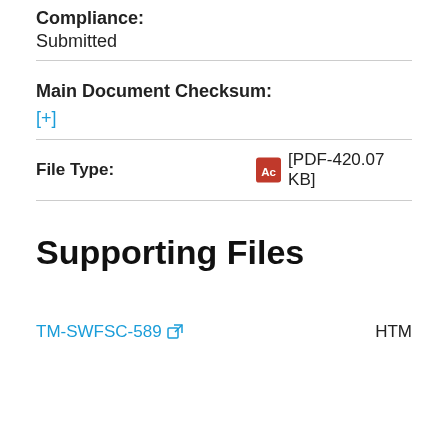Compliance:
Submitted
Main Document Checksum:
[+]
File Type:
[PDF-420.07 KB]
Supporting Files
TM-SWFSC-589
HTM